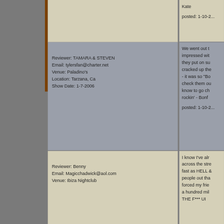Kate

posted: 1-10-2...
Reviewer: TAMARA & STEVEN
Email: tylersfan@charter.net
Venue: Paladino's
Location: Tarzana, Ca
Show Date: 1-7-2006
We went out t... impressed wit... they put on su... cracked up the... - it was so "Bo... check them ou... know to go ch... rockin' - Bonf...

posted: 1-10-2...
Reviewer: Benny
Email: Magicchadwick@aol.com
Venue: Ibiza Nightclub
I know I've al... across the stre... fast as HELL ... people out tha... forced my frie... a hundred mil... THE F*** UI...